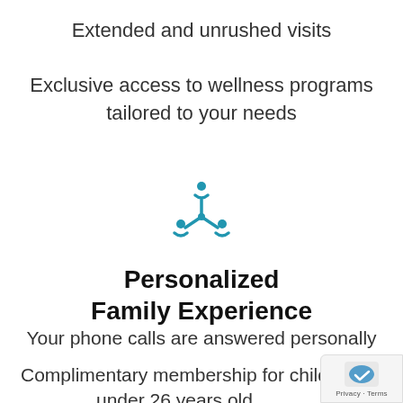Extended and unrushed visits
Exclusive access to wellness programs tailored to your needs
[Figure (logo): Blue circular family/community icon with stylized figures forming a snowflake-like pattern]
Personalized Family Experience
Your phone calls are answered personally
Complimentary membership for children under 26 years old